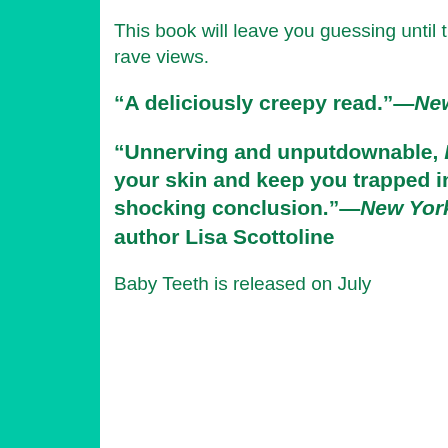This book will leave you guessing until the very end and has received rave views.
“A deliciously creepy read.”—New York Post
“Unnerving and unputdownable, Baby Teeth will get under your skin and keep you trapped in its chilling grip until the shocking conclusion.”—New York Times bestselling author Lisa Scottoline
Baby Teeth is released on July